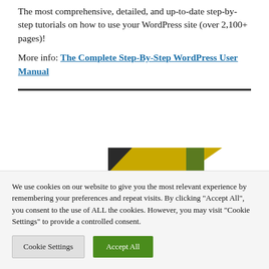The most comprehensive, detailed, and up-to-date step-by-step tutorials on how to use your WordPress site (over 2,100+ pages)!
More info: The Complete Step-By-Step WordPress User Manual
[Figure (illustration): Partial view of a book cover with a black and yellow/green color scheme, partially visible at the bottom of the main content area.]
We use cookies on our website to give you the most relevant experience by remembering your preferences and repeat visits. By clicking "Accept All", you consent to the use of ALL the cookies. However, you may visit "Cookie Settings" to provide a controlled consent.